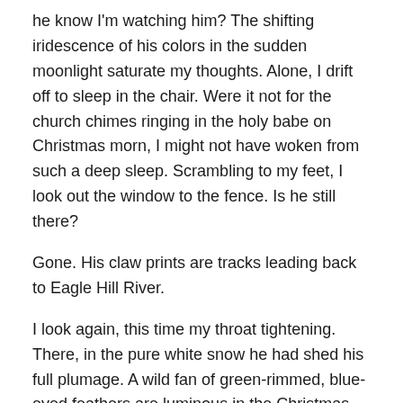he know I'm watching him? The shifting iridescence of his colors in the sudden moonlight saturate my thoughts. Alone, I drift off to sleep in the chair. Were it not for the church chimes ringing in the holy babe on Christmas morn, I might not have woken from such a deep sleep. Scrambling to my feet, I look out the window to the fence. Is he still there?
Gone. His claw prints are tracks leading back to Eagle Hill River.
I look again, this time my throat tightening. There, in the pure white snow he had shed his full plumage. A wild fan of green-rimmed, blue-eyed feathers are luminous in the Christmas sun—standing upright. Alive like a king.
“Forevermore,” I say aloud. “Forevermore, Annabella.”